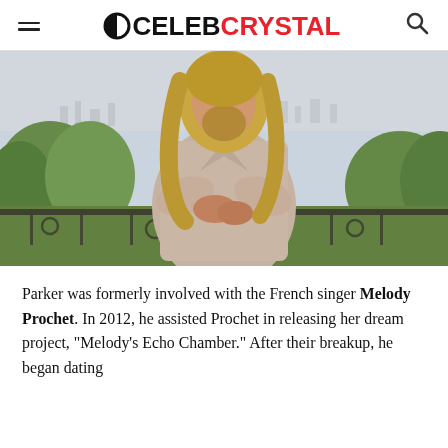CELEBCRYSTAL
[Figure (photo): A man with long blonde hair and beard, wearing a light pink/washed denim jacket, standing on a balcony with green trees and a city skyline in the background.]
Parker was formerly involved with the French singer Melody Prochet. In 2012, he assisted Prochet in releasing her dream project, “Melody’s Echo Chamber.” After their breakup, he began dating